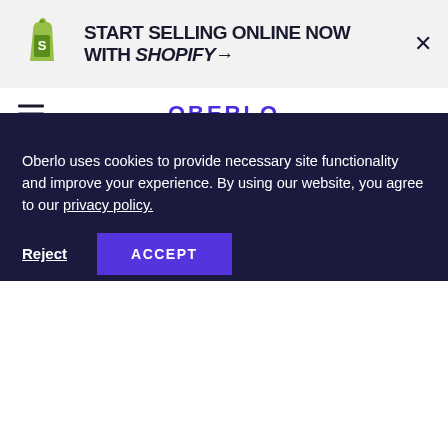[Figure (screenshot): Shopify promotional banner with logo and text: START SELLING ONLINE NOW WITH SHOPIFY→, with a close X button]
OBERLO
[Figure (illustration): Peach/beige background with large purple bold text MARKETING AUTOMATION and cartoon hands pointing]
Oberlo uses cookies to provide necessary site functionality and improve your experience. By using our website, you agree to our privacy policy.
Reject  ACCEPT